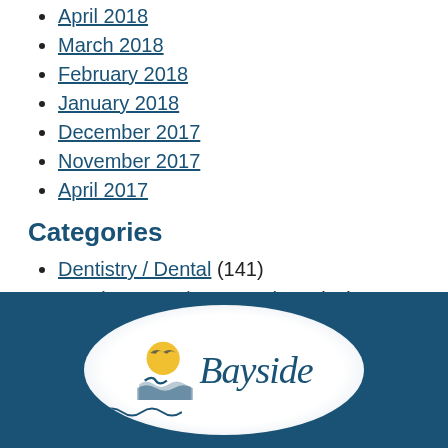April 2018
March 2018
February 2018
January 2018
December 2017
November 2017
April 2017
Categories
Dentistry / Dental (141)
Local Interest / Jersey Shore (81)
Pets & Animals (7)
Uncategorized (30)
[Figure (logo): Bayside dental logo: oval white background with a yellow sun, bird silhouette, wave graphic, and italic teal 'Bayside' text on dark blue footer background]